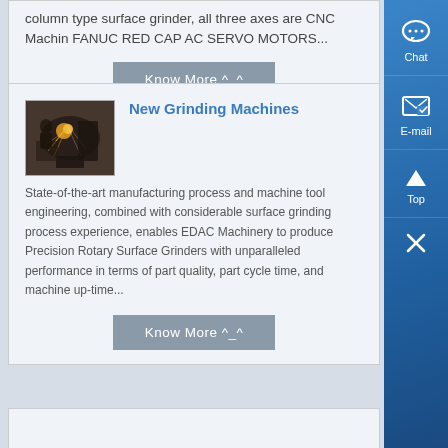column type surface grinder, all three axes are CNC Machin FANUC RED CAP AC SERVO MOTORS...
Know More ^_^
[Figure (photo): Photo of a grinding machine in operation with sparks visible]
New Grinding Machines
State-of-the-art manufacturing process and machine tool engineering, combined with considerable surface grinding process experience, enables EDAC Machinery to produce Precision Rotary Surface Grinders with unparalleled performance in terms of part quality, part cycle time, and machine up-time...
Know More ^_^
[Figure (other): Right sidebar with Chat, E-mail, Top, and close icons on blue gradient background]